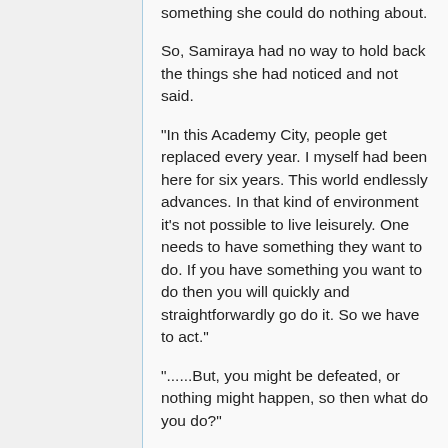something she could do nothing about.
So, Samiraya had no way to hold back the things she had noticed and not said.
"In this Academy City, people get replaced every year. I myself had been here for six years. This world endlessly advances. In that kind of environment it's not possible to live leisurely. One needs to have something they want to do. If you have something you want to do then you will quickly and straightforwardly go do it. So we have to act."
"......But, you might be defeated, or nothing might happen, so then what do you do?"
This was something that Layfon disclosed from deep inside his heart. But to Samiraya, this was impossible to comprehend, and she really didn't